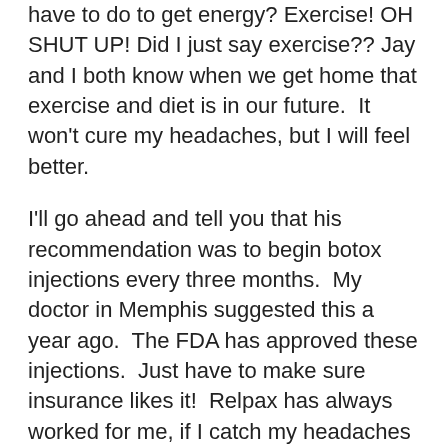have to do to get energy? Exercise! OH SHUT UP! Did I just say exercise?? Jay and I both know when we get home that exercise and diet is in our future.  It won't cure my headaches, but I will feel better.
I'll go ahead and tell you that his recommendation was to begin botox injections every three months.  My doctor in Memphis suggested this a year ago.  The FDA has approved these injections.  Just have to make sure insurance likes it!  Relpax has always worked for me, if I catch my headaches at the right time.  That's the problem, catching them.  They will start on Wednesday or Thursday and by Saturday it's too late.  He wants me to switch to Imitrex, but it causes chest pressure.  If you have panic attacks, like I do, I told him that is why I have not tried the drug.  He said the plus with Imitrex is that it is in shot form, gets in your system quicker, and then I